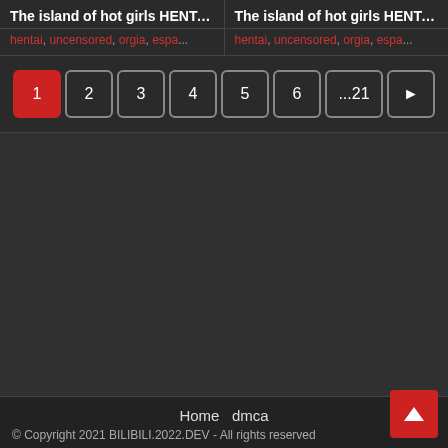The island of hot girls HENTAI 1
The island of hot girls HENTAI 1
hentai, uncensored, orgia, espa...
hentai, uncensored, orgia, espa...
Pagination: 1 (active), 2, 3, 4, 5, 6, ...21, next
Home  dmca
© Copyright 2021 BILIBILI.2022.DEV - All rights reserved